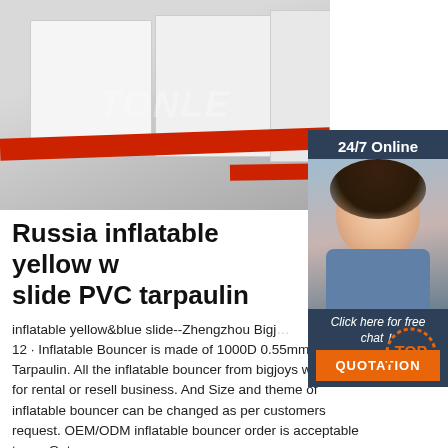[Figure (photo): Product photo of white inflatable tent/bouncer structures set up on red tarpaulin flooring in a large indoor space. Watermark text 'TONLE' visible on image.]
Russia inflatable yellow w... slide PVC tarpaulin
[Figure (photo): Customer service sidebar with '24/7 Online' label, photo of female agent wearing headset, 'Click here for free chat!' text, and orange QUOTATION button.]
inflatable yellow&blue slide--Zhengzhou Bigj... 12 · Inflatable Bouncer is made of 1000D 0.55mm PVC Tarpaulin. All the inflatable bouncer from bigjoys will be ok for rental or resell business. And Size and theme of inflatable bouncer can be changed as per customers request. OEM/ODM inflatable bouncer order is acceptable to us. Get